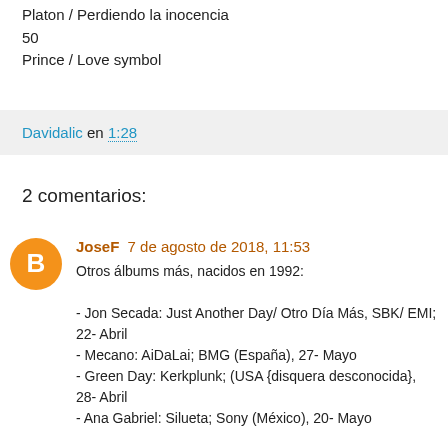Platon / Perdiendo la inocencia
50
Prince / Love symbol
Davidalic en 1:28
2 comentarios:
JoseF 7 de agosto de 2018, 11:53
Otros álbums más, nacidos en 1992:

- Jon Secada: Just Another Day/ Otro Día Más, SBK/ EMI; 22- Abril
- Mecano: AiDaLai; BMG (España), 27- Mayo
- Green Day: Kerkplunk; (USA {disquera desconocida}, 28- Abril
- Ana Gabriel: Silueta; Sony (México), 20- Mayo